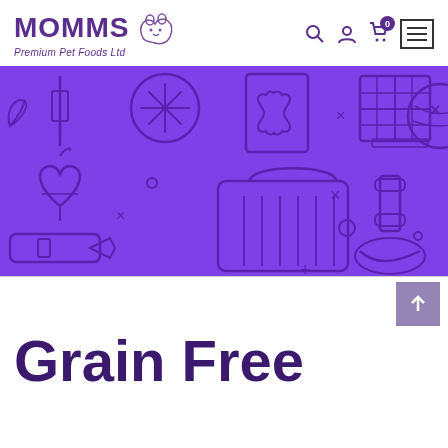[Figure (logo): MOMMS Premium Pet Foods Ltd logo with dog silhouette illustration in purple/mauve]
[Figure (illustration): Purple banner with pet-themed outline icons including dog, carrier, bone, window, collar, syringe, heart, ball of yarn, and decorative x and + marks]
Grain Free